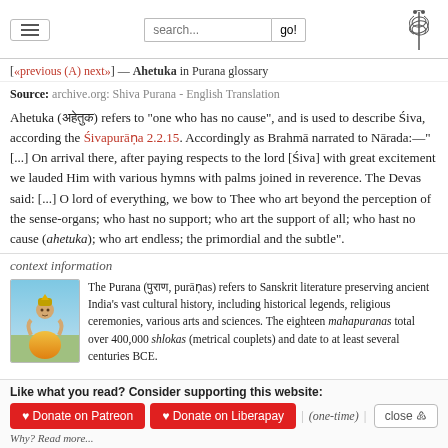search... go!
[«previous (A) next»] — Ahetuka in Purana glossary
Source: archive.org: Shiva Purana - English Translation
Ahetuka (अहेतुक) refers to "one who has no cause", and is used to describe Śiva, according the Śivapurāṇa 2.2.15. Accordingly as Brahmā narrated to Nārada:—"[...] On arrival there, after paying respects to the lord [Śiva] with great excitement we lauded Him with various hymns with palms joined in reverence. The Devas said: [...] O lord of everything, we bow to Thee who art beyond the perception of the sense-organs; who hast no support; who art the support of all; who hast no cause (ahetuka); who art endless; the primordial and the subtle".
context information
[Figure (illustration): Illustration of a deity figure seated, with colorful robes in blue and gold tones, appearing to be a sage or god from Hindu tradition]
The Purana (पुराण, purāṇas) refers to Sanskrit literature preserving ancient India's vast cultural history, including historical legends, religious ceremonies, various arts and sciences. The eighteen mahapuranas total over 400,000 shlokas (metrical couplets) and date to at least several centuries BCE.
Like what you read? Consider supporting this website:
♥ Donate on Patreon  ♥ Donate on Liberapay  | (one-time) |  close ⊗
Why? Read more...